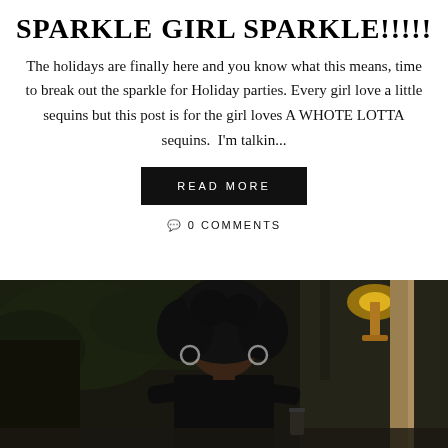SPARKLE GIRL SPARKLE!!!!!
The holidays are finally here and you know what this means, time to break out the sparkle for Holiday parties. Every girl love a little sequins but this post is for the girl loves A WHOTE LOTTA sequins.  I'm talkin...
READ MORE
0 COMMENTS
[Figure (photo): A woman with large curly hair and glasses, wearing a black outfit, seated at what appears to be an outdoor or hotel restaurant/lounge setting at night. There are plants, a lit lamp or candle, and a gold/bronze pillar visible in the background.]